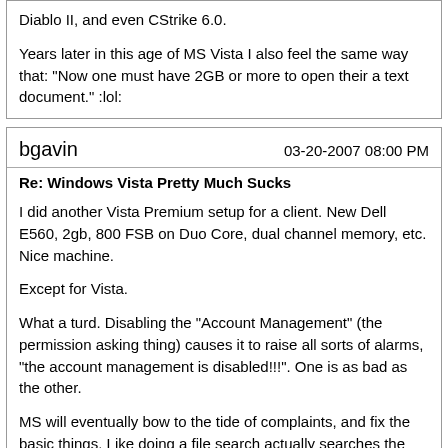Diablo II, and even CStrike 6.0.

Years later in this age of MS Vista I also feel the same way that: "Now one must have 2GB or more to open their a text document." :lol:
bgavin
03-20-2007 08:00 PM
Re: Windows Vista Pretty Much Sucks
I did another Vista Premium setup for a client. New Dell E560, 2gb, 800 FSB on Duo Core, dual channel memory, etc. Nice machine.
Except for Vista.
What a turd. Disabling the "Account Management" (the permission asking thing) causes it to raise all sorts of alarms, "the account management is disabled!!!". One is as bad as the other.
MS will eventually bow to the tide of complaints, and fix the basic things. Like doing a file search actually searches the disk, not a list of web sites. Harumph.
When my clients ask me, "Why does..." I tell them that Why is a philosophical question, and beyond the scope of this class. You are encouraged to call 1-800-Call-Bill and pay MS to ask questions. I don't do questions.
I'm trying to figure out if I'm just cranky as hell from too many allergies, or if Vista really sux has hard as I think it does. What a disaster. I